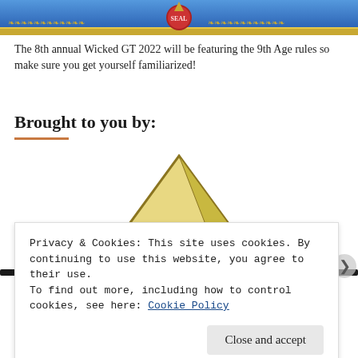[Figure (illustration): Banner image with blue background, gold decorative border, red wax seal, and decorative elements for Wicked GT 2022]
The 8th annual Wicked GT 2022 will be featuring the 9th Age rules so make sure you get yourself familiarized!
Brought to you by:
[Figure (illustration): Gold/yellow triangle pyramid shape on white background with dark horizontal bands]
Privacy & Cookies: This site uses cookies. By continuing to use this website, you agree to their use.
To find out more, including how to control cookies, see here: Cookie Policy
Close and accept